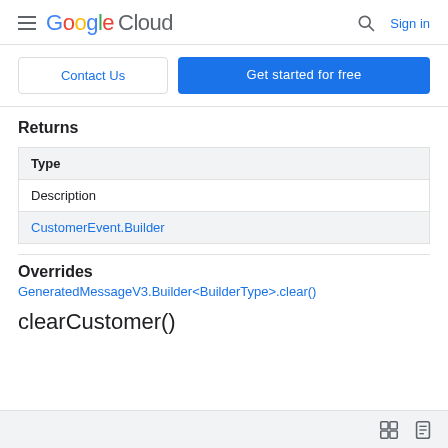Google Cloud | Sign in
[Figure (other): Contact Us and Get started for free buttons]
Returns
| Type |
| --- |
| Description |
| CustomerEvent.Builder |
Overrides
GeneratedMessageV3.Builder<BuilderType>.clear()
clearCustomer()